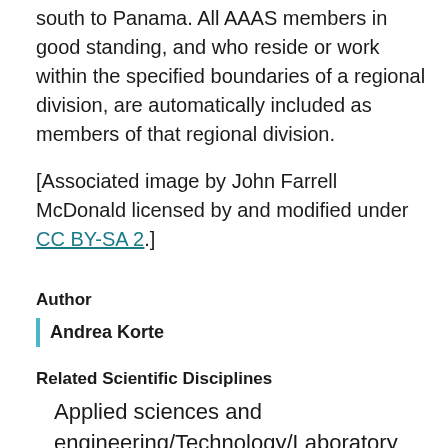south to Panama. All AAAS members in good standing, and who reside or work within the specified boundaries of a regional division, are automatically included as members of that regional division.
[Associated image by John Farrell McDonald licensed by and modified under CC BY-SA 2.]
Author
Andrea Korte
Related Scientific Disciplines
Applied sciences and engineering/Technology/Laboratory equipment